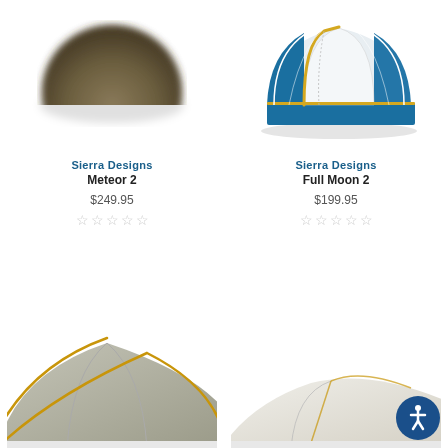[Figure (photo): Sierra Designs Meteor 2 tent - blurry olive/brown dome tent product photo]
Sierra Designs
Meteor 2
$249.95
[Figure (photo): 5 empty star rating icons]
[Figure (photo): Sierra Designs Full Moon 2 tent - blue and white dome tent with yellow frame accents, product photo]
Sierra Designs
Full Moon 2
$199.95
[Figure (photo): 5 empty star rating icons]
[Figure (photo): Partial tent product photo bottom left - gray tent with yellow poles]
[Figure (photo): Partial tent product photo bottom right - white/silver low-profile tent]